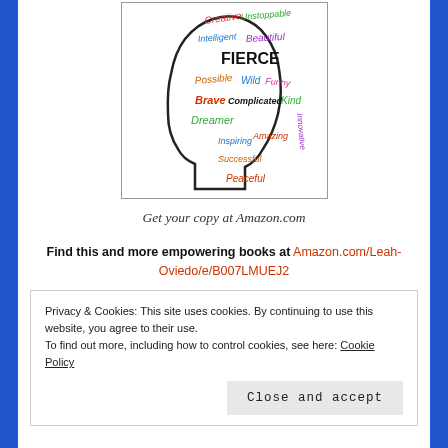[Figure (illustration): Book cover illustration showing a profile silhouette of a woman's head filled with colorful empowering words: Creative, Unstoppable, Intelligent, Beautiful, FIERCE, Possible, Wild, Funny, Brave, Complicated, Kind, Dreamer, Inspiring, Amazing, Innovative, Successful, Peaceful]
Get your copy at Amazon.com
Find this and more empowering books at Amazon.com/Leah-Oviedo/e/B007LMUEJ2
Privacy & Cookies: This site uses cookies. By continuing to use this website, you agree to their use. To find out more, including how to control cookies, see here: Cookie Policy